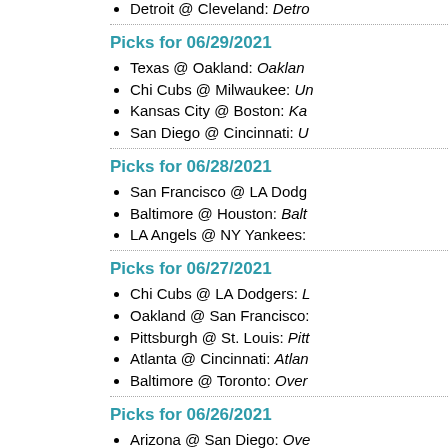Detroit @ Cleveland: Detro…
Picks for 06/29/2021
Texas @ Oakland: Oakland…
Chi Cubs @ Milwaukee: Un…
Kansas City @ Boston: Ka…
San Diego @ Cincinnati: U…
Picks for 06/28/2021
San Francisco @ LA Dodg…
Baltimore @ Houston: Balt…
LA Angels @ NY Yankees:…
Picks for 06/27/2021
Chi Cubs @ LA Dodgers: L…
Oakland @ San Francisco:…
Pittsburgh @ St. Louis: Pitt…
Atlanta @ Cincinnati: Atlan…
Baltimore @ Toronto: Over…
Picks for 06/26/2021
Arizona @ San Diego: Ove…
Chi Cubs @ LA Dodgers: L…
Colorado @ Milwaukee: Ou…
Washington @ Miami: Ove…
Baltimore @ Toronto: Toron…